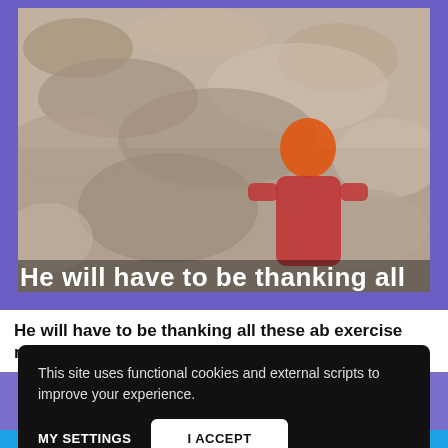[Figure (screenshot): A blurry video screenshot showing a person in a red/orange outfit against a rocky background, with a white subtitle overlay at the bottom reading 'He will have to be thanking all']
He will have to be thanking all these ab exercise routines – last
This site uses functional cookies and external scripts to improve your experience.
MY SETTINGS
I ACCEPT